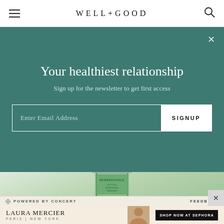WELL+GOOD
Your healthiest relationship
Sign up for the newsletter to get first access
Enter Email Address
SIGNUP
[Figure (photo): SkinCeuticals Phyto A+ Brightening Treatment bottle on green leafy background]
POWERED BY CONCERT
FEEDBACK
LAURA MERCIER
PARIS | NEW YORK
SHOP NOW AT SEPHORA